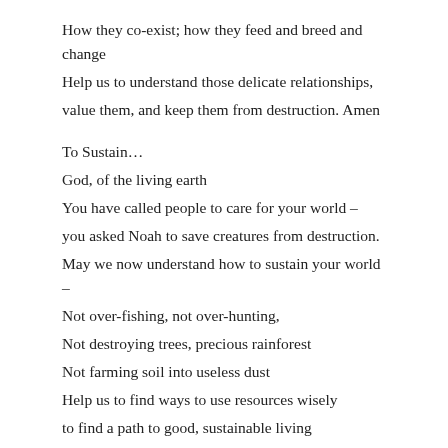How they co-exist; how they feed and breed and change
Help us to understand those delicate relationships,
value them, and keep them from destruction. Amen
To Sustain…
God, of the living earth
You have called people to care for your world –
you asked Noah to save creatures from destruction.
May we now understand how to sustain your world –
Not over-fishing, not over-hunting,
Not destroying trees, precious rainforest
Not farming soil into useless dust
Help us to find ways to use resources wisely
to find a path to good, sustainable living
in peace and harmony with creatures around us. Amen